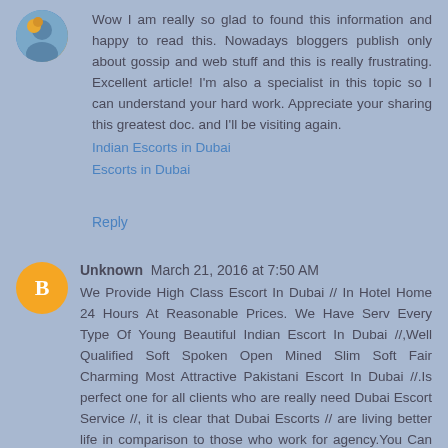Wow I am really so glad to found this information and happy to read this. Nowadays bloggers publish only about gossip and web stuff and this is really frustrating. Excellent article! I'm also a specialist in this topic so I can understand your hard work. Appreciate your sharing this greatest doc. and I'll be visiting again.
Indian Escorts in Dubai
Escorts in Dubai

Reply
Unknown  March 21, 2016 at 7:50 AM
We Provide High Class Escort In Dubai // In Hotel Home 24 Hours At Reasonable Prices. We Have Serv Every Type Of Young Beautiful Indian Escort In Dubai //,Well Qualified Soft Spoken Open Mined Slim Soft Fair Charming Most Attractive Pakistani Escort In Dubai //.Is perfect one for all clients who are really need Dubai Escort Service //, it is clear that Dubai Escorts // are living better life in comparison to those who work for agency.You Can Call us For Booking +971552244915